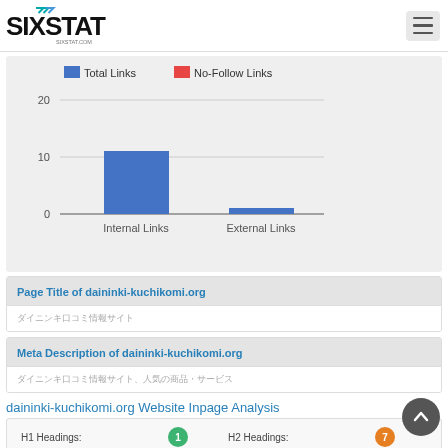SIXSTAT - sixstat.com
[Figure (grouped-bar-chart): Links Chart]
Page Title of daininki-kuchikomi.org
[Japanese characters representing page title]
Meta Description of daininki-kuchikomi.org
[Japanese characters representing meta description]
daininki-kuchikomi.org Website Inpage Analysis
| H1 Headings: |  | H2 Headings: |  |
| --- | --- | --- | --- |
| H1 Headings: | 1 | H2 Headings: | 7 |